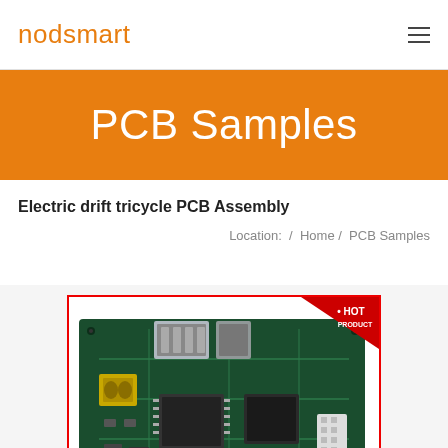nodsmart
PCB Samples
Electric drift tricycle PCB Assembly
Location:  /  Home /  PCB Samples
[Figure (photo): PCB Assembly product photo showing a green circuit board with components including ethernet port, inductors, ICs and connectors, with a red border and a 'HOT PRODUCT' badge in top-right corner]